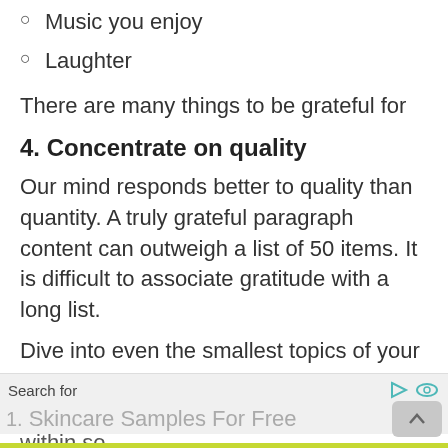Music you enjoy
Laughter
There are many things to be grateful for
4. Concentrate on quality
Our mind responds better to quality than quantity. A truly grateful paragraph content can outweigh a list of 50 items. It is difficult to associate gratitude with a long list.
Dive into even the smallest topics of your gratitude journal to help you consolidate your gratitude in your life. Observe from within so
Search for    1.  Skincare Samples For Free